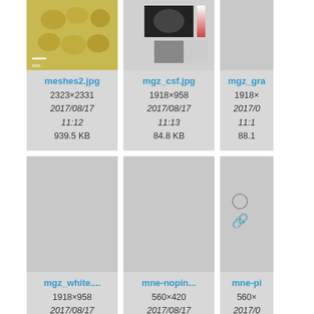[Figure (screenshot): File browser thumbnail grid showing image files: meshes2.jpg (2323×2331, 2017/08/17 11:12, 939.5 KB), mgz_csf.jpg (1918×958, 2017/08/17 11:13, 84.8 KB), mgz_gra... (1918×..., 2017/0... 11:1..., 88.1...), mgz_white.... (1918×958, 2017/08/17 11:12, 83.5 KB), mne-nopin... (560×420, 2017/08/17 11:12, 6 KB), mne-pi... (560×..., 2017/0... 11:1..., 6.2 K...)]